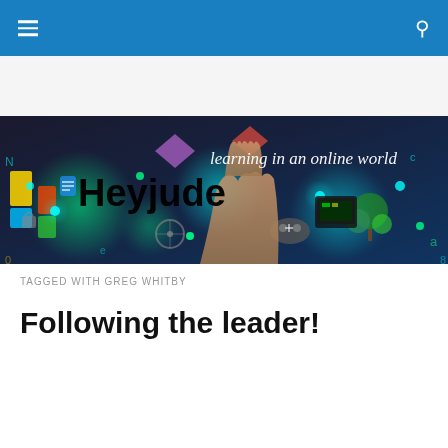Navigation bar with hamburger menu and search icon
[Figure (illustration): Heyjude blog banner image with colorful digital learning elements, hands, glowing lights, and text reading 'Heyjude learning in an online world']
TAGGED WITH GREG WHITBY
Following the leader!